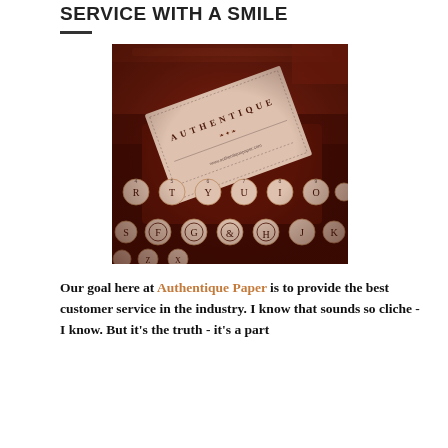SERVICE WITH A SMILE
[Figure (photo): A vintage typewriter with an Authentique Paper business card resting on the keys, sepia-toned photograph]
Our goal here at Authentique Paper is to provide the best customer service in the industry. I know that sounds so cliche - I know. But it's the truth - it's a part